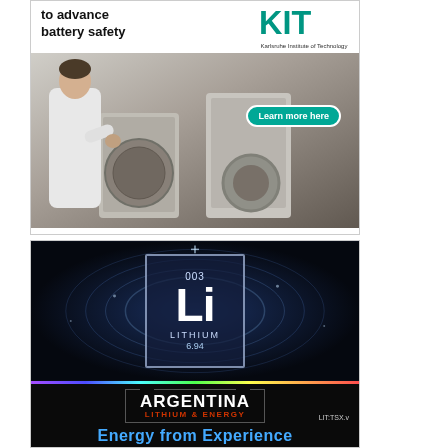[Figure (photo): Advertisement for Karlsruhe Institute of Technology (KIT) about battery safety research. Shows a scientist in a white lab coat working with laboratory equipment. Text reads 'to advance battery safety' with KIT logo and a teal 'Learn more here' button.]
[Figure (photo): Advertisement for Argentina Lithium & Energy. Top portion shows a periodic table element tile for Lithium (Li, 003, 6.94) against a dark blue sci-fi background with glowing rings and a rainbow spectrum bar. Bottom black bar shows 'ARGENTINA LITHIUM & ENERGY' logo, LIT:TSX.v ticker, and blue text 'Energy from Experience'.]